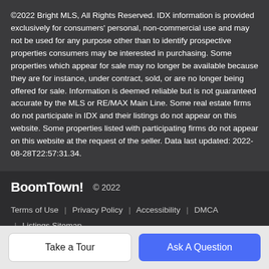©2022 Bright MLS, All Rights Reserved. IDX information is provided exclusively for consumers' personal, non-commercial use and may not be used for any purpose other than to identify prospective properties consumers may be interested in purchasing. Some properties which appear for sale may no longer be available because they are for instance, under contract, sold, or are no longer being offered for sale. Information is deemed reliable but is not guaranteed accurate by the MLS or RE/MAX Main Line. Some real estate firms do not participate in IDX and their listings do not appear on this website. Some properties listed with participating firms do not appear on this website at the request of the seller. Data last updated: 2022-08-28T22:57:31.34.
BoomTown! © 2022
Terms of Use | Privacy Policy | Accessibility | DMCA | Listings Sitemap